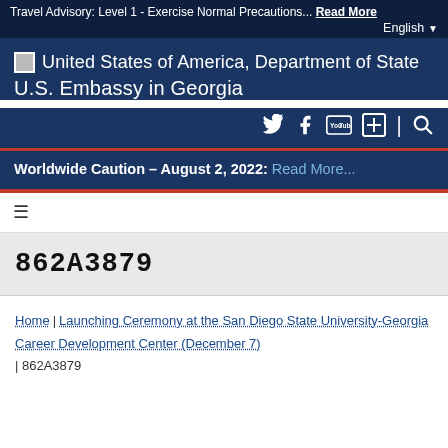Travel Advisory: Level 1 - Exercise Normal Precautions... Read More  English
United States of America, Department of State
U.S. Embassy in Georgia
[Figure (infographic): Social media icons: Twitter, Facebook, YouTube, plus sign, divider, search icon]
Worldwide Caution – August 2, 2022: Read More...
≡ (hamburger menu icon)
862A3879
Home | Launching Ceremony at the San Diego State University-Georgia Career Development Center (December 7) | 862A3879